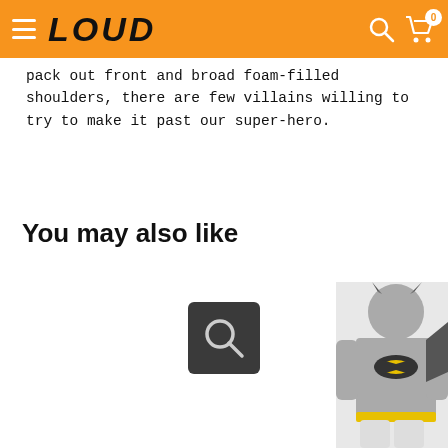LOUD - navigation header with hamburger menu, logo, search icon, and cart (0)
pack out front and broad foam-filled shoulders, there are few villains willing to try to make it past our super-hero.
You may also like
[Figure (screenshot): Search icon placeholder (magnifying glass on dark background) for a product card]
[Figure (photo): Batman costume product image showing a child in a grey and black Batman outfit with mask, partially cropped on the right side of the page]